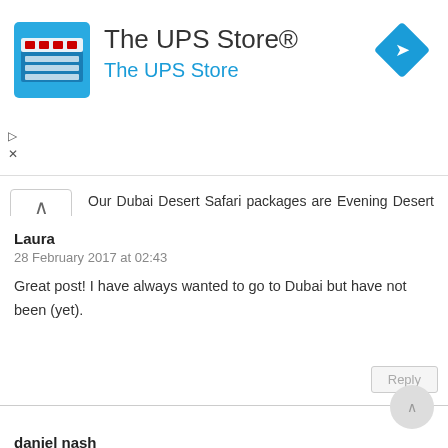[Figure (logo): The UPS Store advertisement banner with store logo, name and navigation icon]
Our Dubai Desert Safari packages are Evening Desert Safari Dubai, Desert Safari Dubai, Overnight Desert Safari and Hummer Desert Safari in Dubai.
Laura
28 February 2017 at 02:43
Great post! I have always wanted to go to Dubai but have not been (yet).
daniel nash
28 February 2017 at 02:41